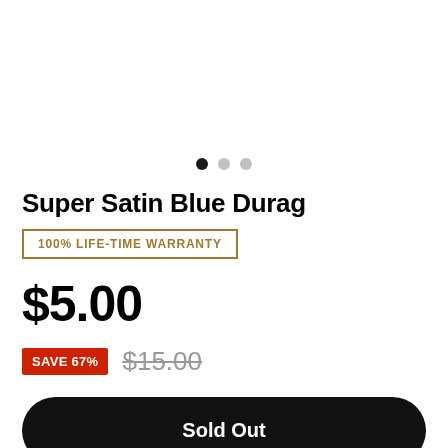[Figure (other): Carousel pagination dots: one filled black dot and two grey dots indicating a 3-image product image carousel]
Super Satin Blue Durag
100% LIFE-TIME WARRANTY
$5.00
SAVE 67%  $15.00